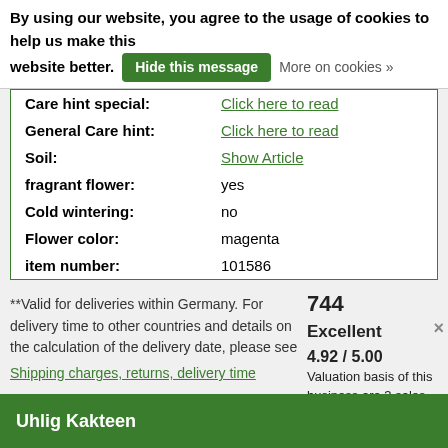By using our website, you agree to the usage of cookies to help us make this website better. Hide this message More on cookies »
| Property | Value |
| --- | --- |
| Care hint special: | Click here to read |
| General Care hint: | Click here to read |
| Soil: | Show Article |
| fragrant flower: | yes |
| Cold wintering: | no |
| Flower color: | magenta |
| item number: | 101586 |
**Valid for deliveries within Germany. For delivery time to other countries and details on the calculation of the delivery date, please see
Shipping charges, returns, delivery time
744
Excellent
4.92 / 5.00
Valuation basis of this business are 3 sales- and 3 rating platforms
Uhlig Kakteen